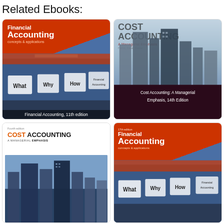Related Ebooks:
[Figure (illustration): Book cover: Financial Accounting concepts & applications, 11th edition. Orange and blue cover with word signs saying What, Why, How, Financial Accounting.]
Financial Accounting, 11th edition
[Figure (illustration): Book cover: Cost Accounting A Managerial Emphasis, 14th Edition. Blue city skyline with dark red bottom banner.]
Cost Accounting: A Managerial Emphasis, 14th Edition
[Figure (illustration): Book cover: Cost Accounting A Managerial Emphasis, fourth edition. White cover with blue city skyline photo.]
[Figure (illustration): Book cover: Financial Accounting concepts & applications (partial view). Orange and blue cover with word signs.]